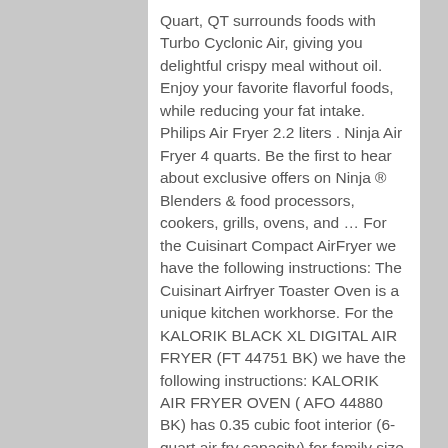Quart, QT surrounds foods with Turbo Cyclonic Air, giving you delightful crispy meal without oil. Enjoy your favorite flavorful foods, while reducing your fat intake. Philips Air Fryer 2.2 liters . Ninja Air Fryer 4 quarts. Be the first to hear about exclusive offers on Ninja ® Blenders & food processors, cookers, grills, ovens, and … For the Cuisinart Compact AirFryer we have the following instructions: The Cuisinart Airfryer Toaster Oven is a unique kitchen workhorse. For the KALORIK BLACK XL DIGITAL AIR FRYER (FT 44751 BK) we have the following instructions: KALORIK AIR FRYER OVEN ( AFO 44880 BK) has 0.35 cubic foot interior (6-quart air fry capacity) for family size meals. The Ninja® Foodi™ Digital Air Fry Oven is an air fryer,